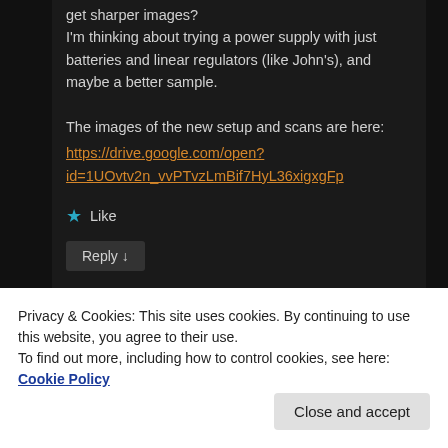get sharper images?
I'm thinking about trying a power supply with just batteries and linear regulators (like John's), and maybe a better sample.
The images of the new setup and scans are here:
https://drive.google.com/open?id=1UOvtv2n_vvPTvzLmBif7HyL36xigxgFp
★ Like
Reply ↓
Dan Berard
without the metal box?
Privacy & Cookies: This site uses cookies. By continuing to use this website, you agree to their use.
To find out more, including how to control cookies, see here: Cookie Policy
Close and accept